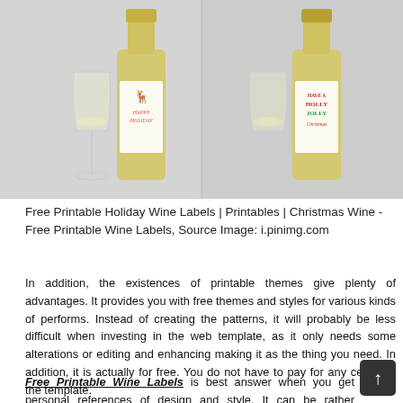[Figure (photo): Two side-by-side photos showing holiday wine bottles with decorative labels. Left photo shows a wine glass and bottle with 'Happy Holiday' label featuring a gold reindeer. Right photo shows a wine glass and bottle with 'Have a Holly Jolly Christmas' label in red and green text.]
Free Printable Holiday Wine Labels | Printables | Christmas Wine - Free Printable Wine Labels, Source Image: i.pinimg.com
In addition, the existences of printable themes give plenty of advantages. It provides you with free themes and styles for various kinds of performs. Instead of creating the patterns, it will probably be less difficult when investing in the web template, as it only needs some alterations or editing and enhancing making it as the thing you need. In addition, it is actually for free. You do not have to pay for any cents for the template.
Free Printable Wine Labels is best answer when you get personal references of design and style. It can be rather standard for someone to have no tips. With the free visual